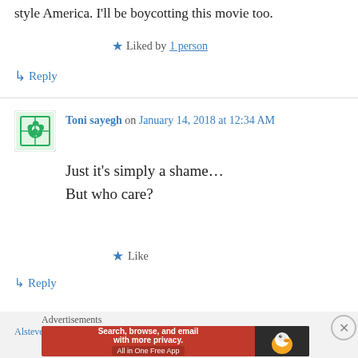style America. I'll be boycotting this movie too.
★ Liked by 1 person
↳ Reply
Toni sayegh on January 14, 2018 at 12:34 AM
Just it's simply a shame…
But who care?
★ Like
↳ Reply
Advertisements
[Figure (other): DuckDuckGo advertisement banner: Search, browse, and email with more privacy. All in One Free App]
Alstevens65@yahoo.com on January 14, 2018